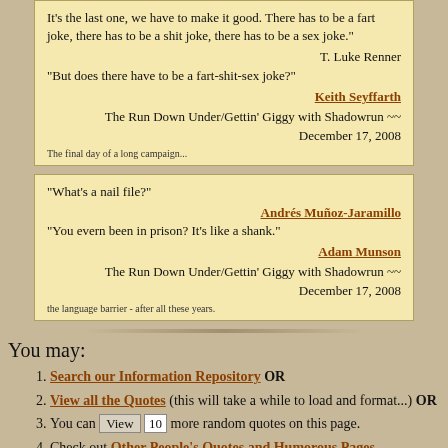It's the last one, we have to make it good. There has to be a fart joke, there has to be a shit joke, there has to be a sex joke." T. Luke Renner "But does there have to be a fart-shit-sex joke?" Keith Seyffarth The Run Down Under/Gettin' Giggy with Shadowrun ~~ December 17, 2008 The final day of a long campaign...
"What's a nail file?" Andrés Muñoz-Jaramillo "You evern been in prison? It's like a shank." Adam Munson The Run Down Under/Gettin' Giggy with Shadowrun ~~ December 17, 2008 the language barrier - after all these years.
You may:
Search our Information Repository OR
View all the Quotes (this will take a while to load and format...) OR
You can View 10 more random quotes on this page.
Check out Other People's Quotes and Humorous Pages.
Acknowledgments: